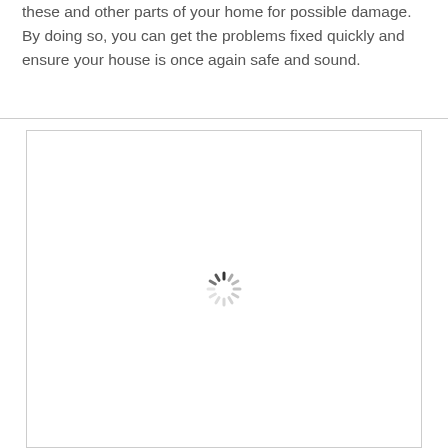these and other parts of your home for possible damage. By doing so, you can get the problems fixed quickly and ensure your house is once again safe and sound.
[Figure (other): A loading spinner (circular progress indicator) centered inside a large white bordered rectangle, indicating an image is loading.]